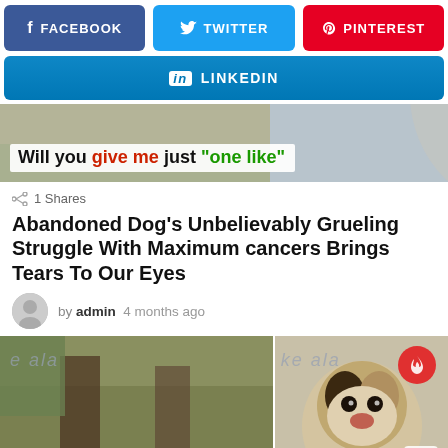[Figure (screenshot): Social share buttons: Facebook (blue), Twitter (light blue), Pinterest (red)]
[Figure (screenshot): LinkedIn share button (blue gradient)]
[Figure (photo): Banner image with text overlay: Will you give me just 'one like' with colored words]
1 Shares
Abandoned Dog's Unbelievably Grueling Struggle With Maximum cancers Brings Tears To Our Eyes
by admin  4 months ago
[Figure (photo): Left photo: stray dog lying outdoors with 'e ala' text on wall]
[Figure (photo): Right photo: puppy portrait with 'ke ala' text, fire icon button and scroll-to-top button]